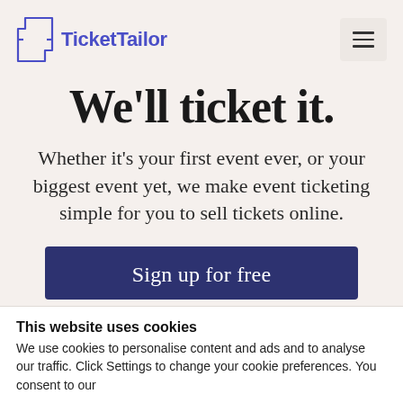TicketTailor
We'll ticket it.
Whether it's your first event ever, or your biggest event yet, we make event ticketing simple for you to sell tickets online.
[Figure (other): Blue CTA button with text 'Sign up for free']
This website uses cookies
We use cookies to personalise content and ads and to analyse our traffic. Click Settings to change your cookie preferences. You consent to our